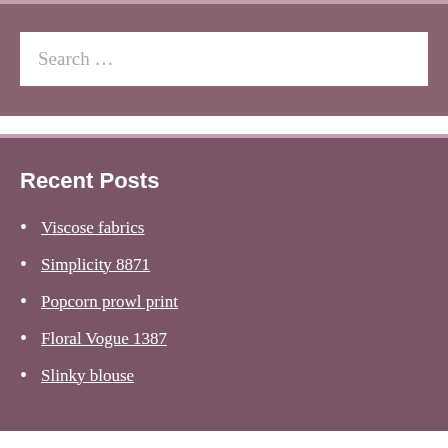[Figure (screenshot): Search widget with text input box showing placeholder text 'Search ...' on a mauve/dusty rose background]
Recent Posts
Viscose fabrics
Simplicity 8871
Popcorn prowl print
Floral Vogue 1387
Slinky blouse